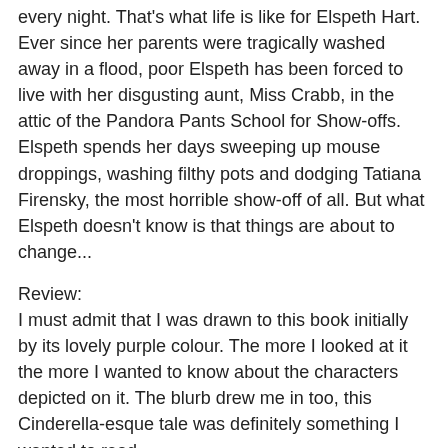every night. That's what life is like for Elspeth Hart. Ever since her parents were tragically washed away in a flood, poor Elspeth has been forced to live with her disgusting aunt, Miss Crabb, in the attic of the Pandora Pants School for Show-offs. Elspeth spends her days sweeping up mouse droppings, washing filthy pots and dodging Tatiana Firensky, the most horrible show-off of all. But what Elspeth doesn't know is that things are about to change...
Review:
I must admit that I was drawn to this book initially by its lovely purple colour. The more I looked at it the more I wanted to know about the characters depicted on it. The blurb drew me in too, this Cinderella-esque tale was definitely something I wanted to read.
The book is a fairly slim one, and it has plenty of illustrations, done by artist James Brown, dotted throughout. I found that this made it a quick read, I think it will mean that younger readers will find it manageable too - in interest terms it will appeal broadly.